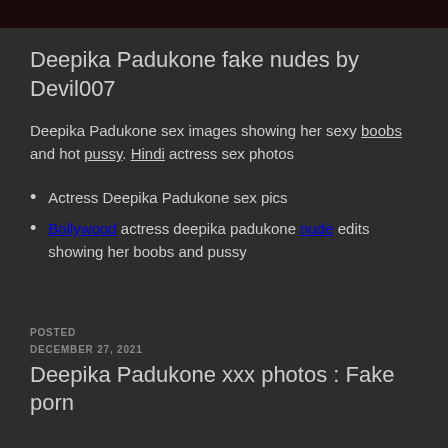[Figure (photo): Partial image strip at the top of the page showing a dark background with a figure in fishnet stockings]
Deepika Padukone fake nudes by Devil007
Deepika Padukone sex images showing her sexy boobs and hot pussy. Hindi actress sex photos
Actress Deepika Padukone sex pics
Bollywood actress deepika padukone nude edits showing her boobs and pussy
POSTED
DECEMBER 27, 2021
Deenika Padukone xxx photos : Fake porn